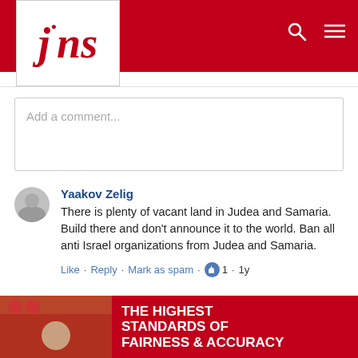[Figure (logo): JNS logo - red text 'jns' on white background square, set against red navigation bar]
Add a comment...
Yaakov Zelig
There is plenty of vacant land in Judea and Samaria. Build there and don't announce it to the world. Ban all anti Israel organizations from Judea and Samaria.
Like · Reply · Mark as spam · 1 · 1y
Facebook Comments Plugin
[Figure (advertisement): Red banner ad with text 'THE HIGHEST STANDARDS OF FAIRNESS & ACCURACY' and a person's photo on the left]